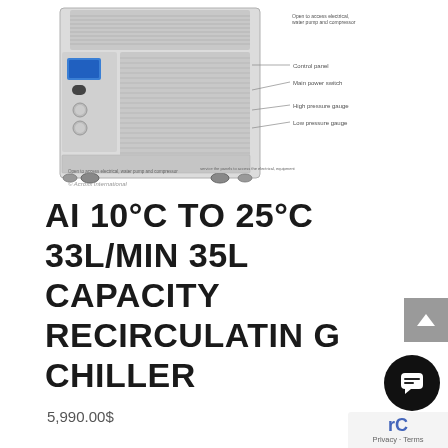[Figure (photo): Industrial recirculating chiller unit, light gray color, on caster wheels, with control panel visible on left side including a blue display screen and switch. Callout labels on right side pointing to: Control panel, Main power switch, High pressure gauge, Low pressure gauge. Text at bottom reads 'Open to access electrical, water pump and compressor'. Copyright mark reads '© Across International'. Small annotations indicate service access panel at bottom.]
AI 10°C TO 25°C 33L/MIN 35L CAPACITY RECIRCULATING CHILLER
5,990.00$